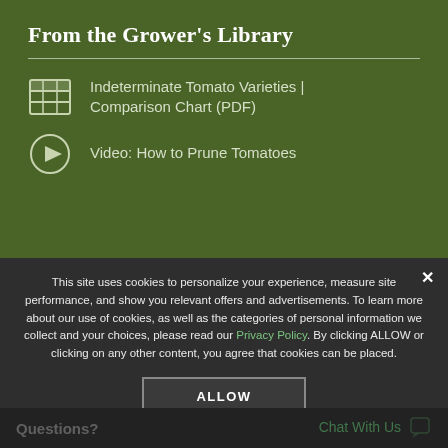From the Grower's Library
Indeterminate Tomato Varieties | Comparison Chart (PDF)
Video: How to Prune Tomatoes
This site uses cookies to personalize your experience, measure site performance, and show you relevant offers and advertisements. To learn more about our use of cookies, as well as the categories of personal information we collect and your choices, please read our Privacy Policy. By clicking ALLOW or clicking on any other content, you agree that cookies can be placed.
ALLOW
Questions?
Chat With Us